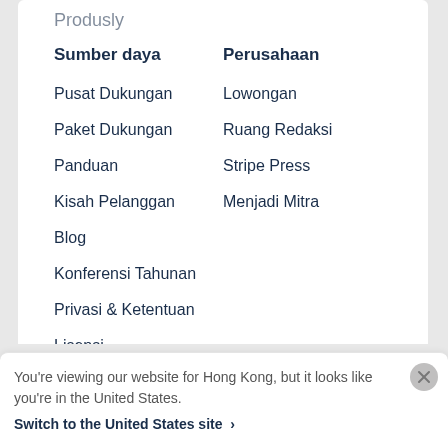Produsly
Sumber daya
Pusat Dukungan
Paket Dukungan
Panduan
Kisah Pelanggan
Blog
Konferensi Tahunan
Privasi & Ketentuan
Lisensi
COVID-19
Peta situs
Perusahaan
Lowongan
Ruang Redaksi
Stripe Press
Menjadi Mitra
You're viewing our website for Hong Kong, but it looks like you're in the United States.
Switch to the United States site >